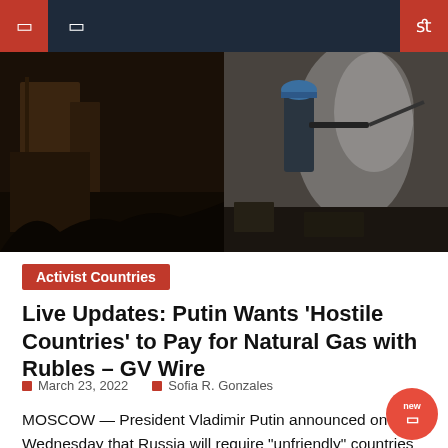[Figure (photo): War/fire scene showing a firefighter or worker in a hard hat amid smoke and debris in a destroyed building interior]
Activist Countries
Live Updates: Putin Wants ‘Hostile Countries’ to Pay for Natural Gas with Rubles – GV Wire
March 23, 2022   Sofia R. Gonzales
MOSCOW — President Vladimir Putin announced on Wednesday that Russia will require “unfriendly” countries to pay for Russian natural gas exports only in rubles from now on. Putin said in a meeting with government officials that “a number of Western countries have taken illegitimate